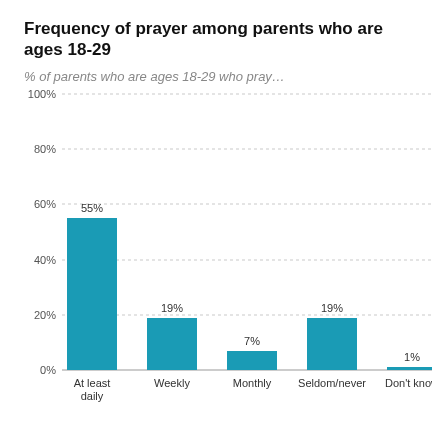Frequency of prayer among parents who are ages 18-29
% of parents who are ages 18-29 who pray…
[Figure (bar-chart): Frequency of prayer among parents who are ages 18-29]